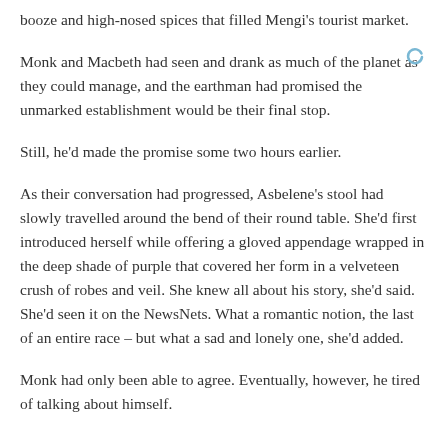booze and high-nosed spices that filled Mengi's tourist market.
Monk and Macbeth had seen and drank as much of the planet as they could manage, and the earthman had promised the unmarked establishment would be their final stop.
Still, he'd made the promise some two hours earlier.
As their conversation had progressed, Asbelene's stool had slowly travelled around the bend of their round table. She'd first introduced herself while offering a gloved appendage wrapped in the deep shade of purple that covered her form in a velveteen crush of robes and veil. She knew all about his story, she'd said. She'd seen it on the NewsNets. What a romantic notion, the last of an entire race – but what a sad and lonely one, she'd added.
Monk had only been able to agree. Eventually, however, he tired of talking about himself.